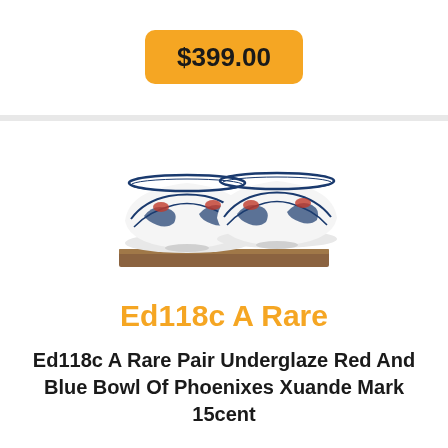$399.00
[Figure (photo): Two blue and white Chinese porcelain bowls with underglaze red phoenix decoration, sitting on a wooden surface]
Ed118c A Rare
Ed118c A Rare Pair Underglaze Red And Blue Bowl Of Phoenixes Xuande Mark 15cent